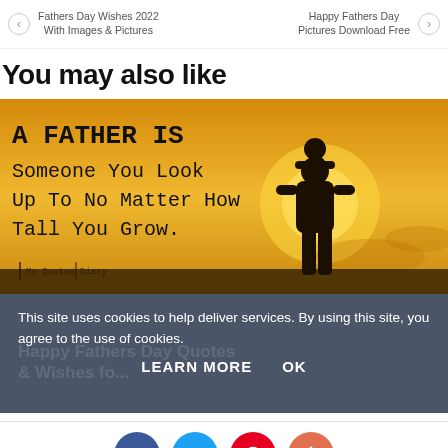Fathers Day Wishes 2022 With Images & Pictures | Happy Fathers Day Pictures Download Free
You may also like
[Figure (illustration): A Father Is Someone You Look Up To No Matter How Tall You Grow. - My Quotes Diary. Yellow sunset background with silhouette of father carrying child on shoulders.]
This site uses cookies to help deliver services. By using this site, you agree to the use of cookies.
LEARN MORE   OK